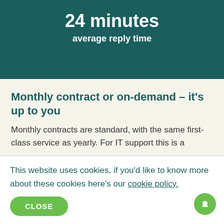24 minutes
average reply time
Monthly contract or on-demand – it's up to you
Monthly contracts are standard, with the same first-class service as yearly. For IT support this is a
This website uses cookies, if you'd like to know more about these cookies here's our cookie policy.
CLOSE